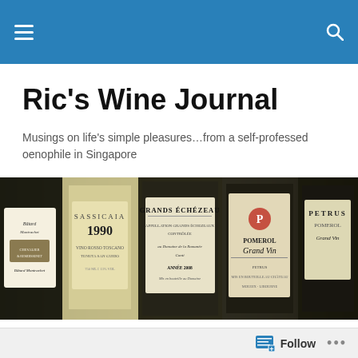Ric's Wine Journal
Musings on life's simple pleasures…from a self-professed oenophile in Singapore
[Figure (photo): Close-up photo of multiple wine bottle labels including Sassicaia 1990, Grands Échézeaux, and Pomerol Grand Vin]
Oct 2016: 2009 Grosset Polish Hill Riesling, 2012 Mugnier NSG Clos de la Marechale
Follow